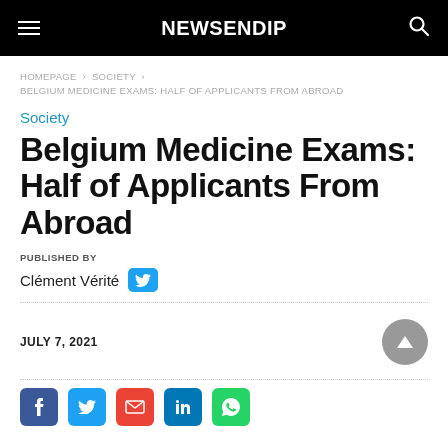NEWSENDIP
HOMEPAGE > SOCIETY > BELGIUM MEDICINE EXAMS: HALF OF APPLICANTS FROM ABROAD
Society
Belgium Medicine Exams: Half of Applicants From Abroad
PUBLISHED BY
Clément Vérité
JULY 7, 2021